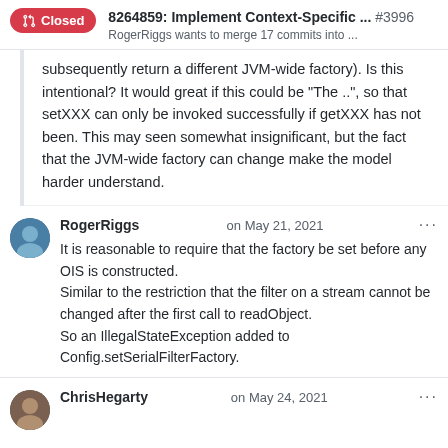8264859: Implement Context-Specific ... #3996
RogerRiggs wants to merge 17 commits into ...
subsequently return a different JVM-wide factory). Is this intentional? It would great if this could be "The ..", so that setXXX can only be invoked successfully if getXXX has not been. This may seen somewhat insignificant, but the fact that the JVM-wide factory can change make the model harder understand.
RogerRiggs on May 21, 2021
It is reasonable to require that the factory be set before any OIS is constructed.
Similar to the restriction that the filter on a stream cannot be changed after the first call to readObject.
So an IllegalStateException added to Config.setSerialFilterFactory.
ChrisHegarty on May 24, 2021